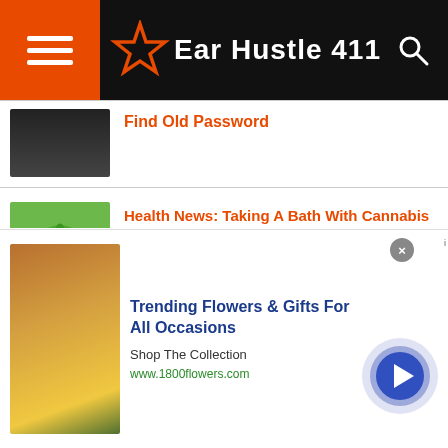Ear Hustle 411
Find Old Password
Health News: Taking A Bath With Cannabis With CBD Is Proven To Work Great For Fibromyalgia
People With Conceal Carry Can Now Carry Their Weapons across State Lines
[Figure (infographic): Advertisement banner: Trending Flowers & Gifts For All Occasions - Shop The Collection - www.1800flowers.com]